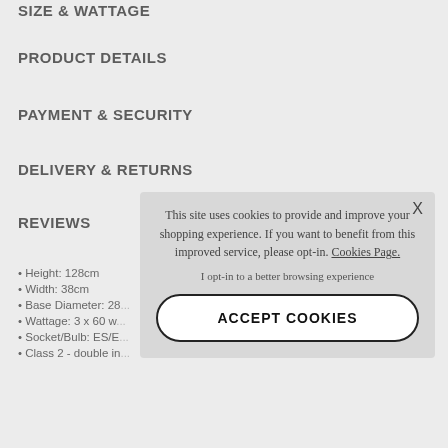SIZE & WATTAGE
PRODUCT DETAILS
PAYMENT & SECURITY
DELIVERY & RETURNS
REVIEWS
• Height: 128cm
• Width: 38cm
• Base Diameter: 28...
• Wattage: 3 x 60 w...
• Socket/Bulb: ES/E...
• Class 2 - double in...
This site uses cookies to provide and improve your shopping experience. If you want to benefit from this improved service, please opt-in. Cookies Page.
I opt-in to a better browsing experience
ACCEPT COOKIES